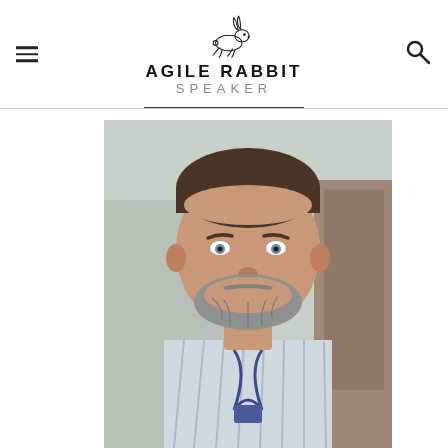[Figure (logo): Agile Rabbit Speaker logo with running rabbit illustration above bold text AGILE RABBIT and SPEAKER in lighter weight below]
[Figure (photo): Close-up portrait photo of a middle-aged man with brown hair and a grey beard, wearing a striped shirt and a lanyard/badge, indoors]